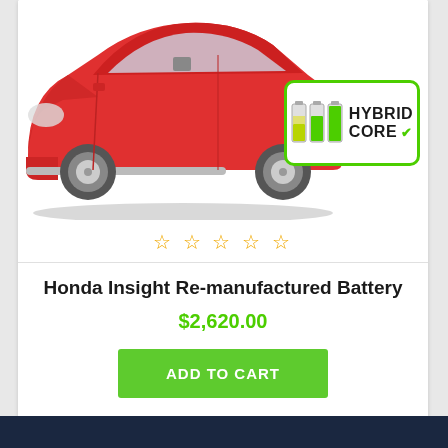[Figure (photo): Red Honda Insight hybrid car, front three-quarter view, with a green 'HYBRID CORE' badge with battery icons overlaid in the top right of the image]
☆☆☆☆☆
Honda Insight Re-manufactured Battery
$2,620.00
ADD TO CART